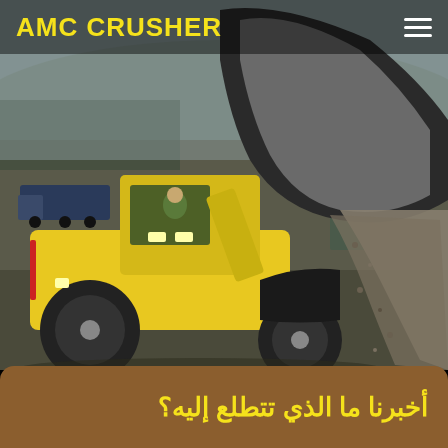[Figure (photo): A yellow Volvo wheel loader at a quarry/crushing site, tilting its large bucket to dump crushed gravel/aggregate. A truck and industrial equipment visible in the background.]
AMC CRUSHER
أخبرنا ما الذي تتطلع إليه؟